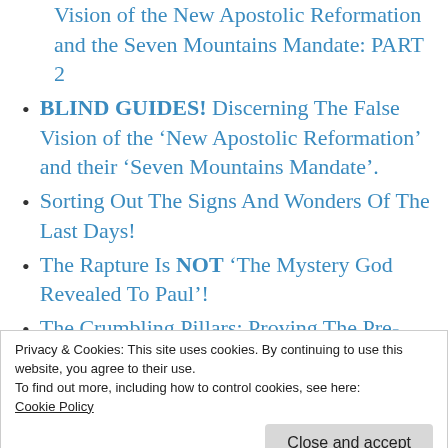Vision of the New Apostolic Reformation and the Seven Mountains Mandate: PART 2
BLIND GUIDES! Discerning The False Vision of the ‘New Apostolic Reformation’ and their ‘Seven Mountains Mandate’.
Sorting Out The Signs And Wonders Of The Last Days!
The Rapture Is NOT ‘The Mystery God Revealed To Paul’!
The Crumbling Pillars: Proving The Pre-Trib Rapture Theory Is False!
Privacy & Cookies: This site uses cookies. By continuing to use this website, you agree to their use.
To find out more, including how to control cookies, see here: Cookie Policy
Close and accept
Know For Sure?